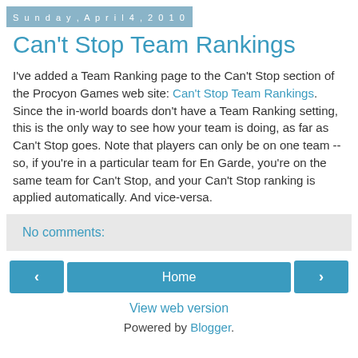Sunday, April 4, 2010
Can't Stop Team Rankings
I've added a Team Ranking page to the Can't Stop section of the Procyon Games web site: Can't Stop Team Rankings. Since the in-world boards don't have a Team Ranking setting, this is the only way to see how your team is doing, as far as Can't Stop goes. Note that players can only be on one team -- so, if you're in a particular team for En Garde, you're on the same team for Can't Stop, and your Can't Stop ranking is applied automatically. And vice-versa.
No comments:
Home
View web version
Powered by Blogger.